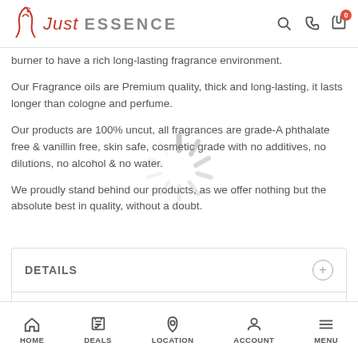Just Essence
burner to have a rich long-lasting fragrance environment.
Our Fragrance oils are Premium quality, thick and long-lasting, it lasts longer than cologne and perfume.
Our products are 100% uncut, all fragrances are grade-A phthalate free & vanillin free, skin safe, cosmetic grade with no additives, no dilutions, no alcohol & no water.
We proudly stand behind our products, as we offer nothing but the absolute best in quality, without a doubt.
[Figure (other): Loading spinner overlay (gray spinning wheel animation)]
DETAILS
Sexual Fresh Michael Kors Type For Women
We only obtain the finest fragrance oils available and do not dilute them...
HOME  DEALS  LOCATION  ACCOUNT  MENU